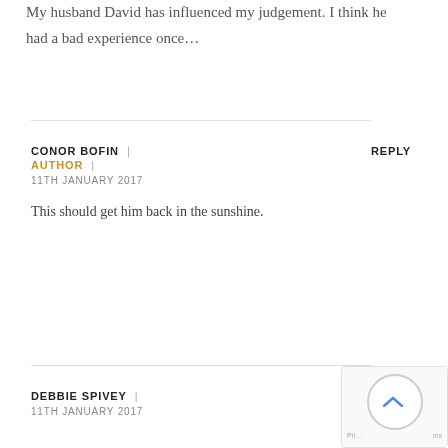My husband David has influenced my judgement. I think he had a bad experience once…
CONOR BOFIN | AUTHOR | 11TH JANUARY 2017 REPLY
This should get him back in the sunshine.
DEBBIE SPIVEY | 11TH JANUARY 2017